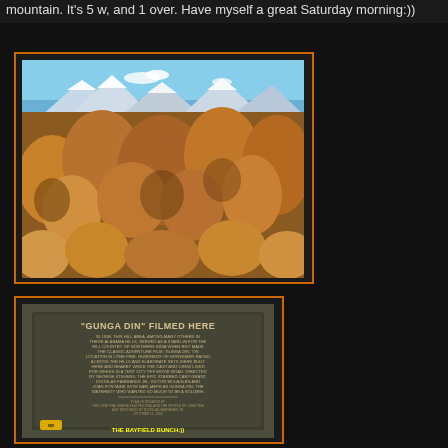mountain. It's 5 w, and 1 over. Have myself a great Saturday morning:))
[Figure (photo): Outdoor photo of rocky Alabama Hills landscape with large boulders and snow-capped Sierra Nevada mountains in the background under a blue sky]
[Figure (photo): Historical marker plaque reading '"GUNGA DIN" FILMED HERE' describing the 1939 RKO film shot on location in Lone Pine, California's Alabama Hills, with a yellow chain logo and THE BAYFIELD BUNCH watermark]